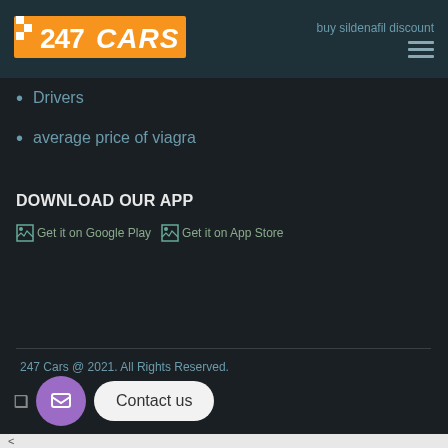buy sildenafil discount
[Figure (logo): 247 CARS logo with orange and white checkerboard taxi motif on orange background]
Drivers
average price of viagra
DOWNLOAD OUR APP
[Figure (other): Get it on Google Play badge (broken image placeholder)]
[Figure (other): Get it on App Store badge (broken image placeholder)]
247 Cars @ 2021. All Rights Reserved.
Contact us